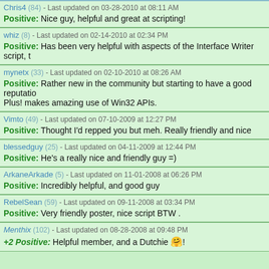Chris4 (84) - Last updated on 03-28-2010 at 08:11 AM
Positive: Nice guy, helpful and great at scripting!
whiz (8) - Last updated on 02-14-2010 at 02:34 PM
Positive: Has been very helpful with aspects of the Interface Writer script, t...
mynetx (33) - Last updated on 02-10-2010 at 08:26 AM
Positive: Rather new in the community but starting to have a good reputatio... Plus! makes amazing use of Win32 APIs.
Vimto (49) - Last updated on 07-10-2009 at 12:27 PM
Positive: Thought I'd repped you but meh. Really friendly and nice
blessedguy (25) - Last updated on 04-11-2009 at 12:44 PM
Positive: He's a really nice and friendly guy =)
ArkaneArkade (5) - Last updated on 11-01-2008 at 06:26 PM
Positive: Incredibly helpful, and good guy
RebelSean (59) - Last updated on 09-11-2008 at 03:34 PM
Positive: Very friendly poster, nice script BTW .
Menthix (102) - Last updated on 08-28-2008 at 09:48 PM
+2 Positive: Helpful member, and a Dutchie!